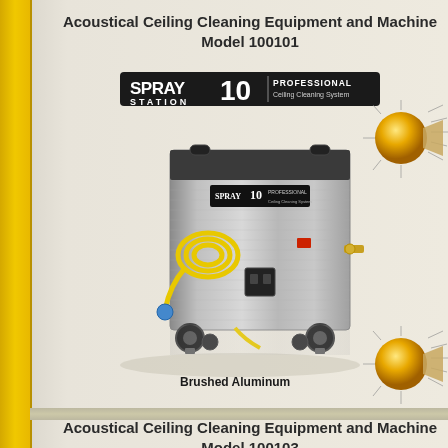Acoustical Ceiling Cleaning Equipment and Machine Model 100101
[Figure (photo): Spray Station 10 Professional Ceiling Cleaning System logo banner]
[Figure (photo): Brushed aluminum spray station machine on wheels with yellow hose and cord. Model 100101 ceiling cleaning machine.]
Brushed Aluminum
Acoustical Ceiling Cleaning Equipment and Machine Model 100103
[Figure (photo): Spray Station 10 Professional Ceiling Cleaning System logo at bottom of page]